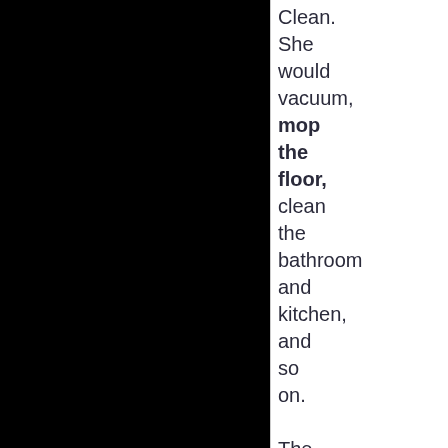Clean. She would vacuum, mop the floor, clean the bathroom and kitchen, and so on.

The cleaning products were kept under the kitchen sink